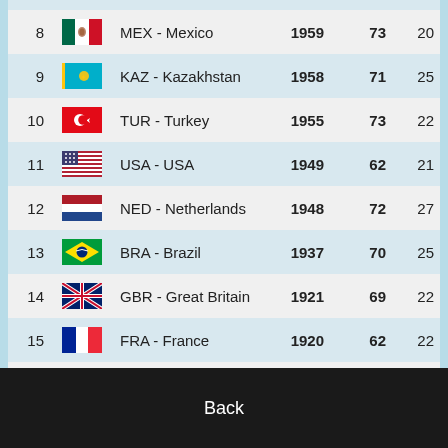| # | Flag | Country | Score | Col1 | Col2 |
| --- | --- | --- | --- | --- | --- |
| 7 | IND | IND - India | 1960 | 73 | 20 |
| 8 | MEX | MEX - Mexico | 1959 | 73 | 20 |
| 9 | KAZ | KAZ - Kazakhstan | 1958 | 71 | 25 |
| 10 | TUR | TUR - Turkey | 1955 | 73 | 22 |
| 11 | USA | USA - USA | 1949 | 62 | 21 |
| 12 | NED | NED - Netherlands | 1948 | 72 | 27 |
| 13 | BRA | BRA - Brazil | 1937 | 70 | 25 |
| 14 | GBR | GBR - Great Britain | 1921 | 69 | 22 |
| 15 | FRA | FRA - France | 1920 | 62 | 22 |
| 16 | BAN | BAN - Bangladesh | 1913 | 53 | 21 |
| 17 | AUS | AUS - Australia | 1909 | 59 | 19 |
| 18 | POL | POL - Poland | 1878 | 50 | 11 |
Back